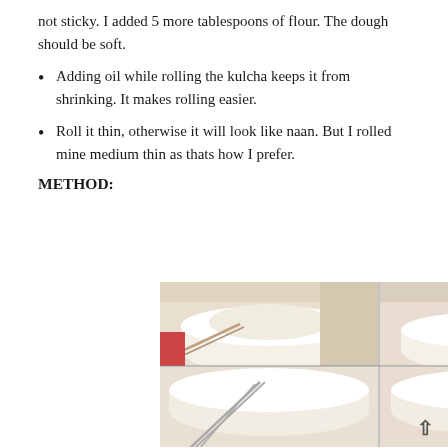not sticky. I added 5 more tablespoons of flour. The dough should be soft.
Adding oil while rolling the kulcha keeps it from shrinking. It makes rolling easier.
Roll it thin, otherwise it will look like naan. But I rolled mine medium thin as thats how I prefer.
METHOD:
[Figure (photo): Four-panel photo grid showing white ceramic mixing bowls with flour and mixing tools including a whisk and yellow spoon, depicting stages of dough preparation.]